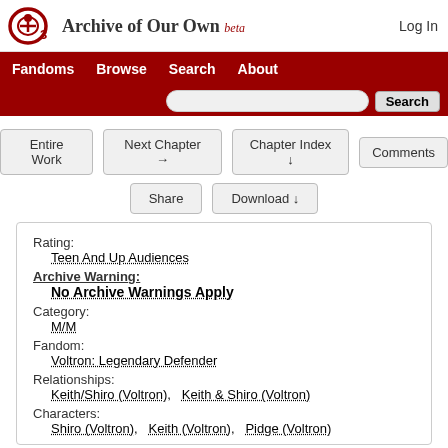Archive of Our Own beta
Log In
Fandoms
Browse
Search
About
Entire Work | Next Chapter → | Chapter Index ↓ | Comments | Share | Download ↓
Rating:
Teen And Up Audiences
Archive Warning:
No Archive Warnings Apply
Category:
M/M
Fandom:
Voltron: Legendary Defender
Relationships:
Keith/Shiro (Voltron), Keith & Shiro (Voltron)
Characters:
Shiro (Voltron), Keith (Voltron), Pidge (Voltron)